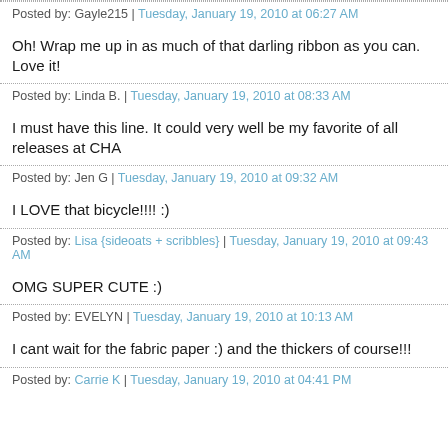Posted by: Gayle215 | Tuesday, January 19, 2010 at 06:27 AM
Oh! Wrap me up in as much of that darling ribbon as you can. Love it!
Posted by: Linda B. | Tuesday, January 19, 2010 at 08:33 AM
I must have this line. It could very well be my favorite of all releases at CHA
Posted by: Jen G | Tuesday, January 19, 2010 at 09:32 AM
I LOVE that bicycle!!!! :)
Posted by: Lisa {sideoats + scribbles} | Tuesday, January 19, 2010 at 09:43 AM
OMG SUPER CUTE :)
Posted by: EVELYN | Tuesday, January 19, 2010 at 10:13 AM
I cant wait for the fabric paper :) and the thickers of course!!!
Posted by: Carrie K | Tuesday, January 19, 2010 at 04:41 PM